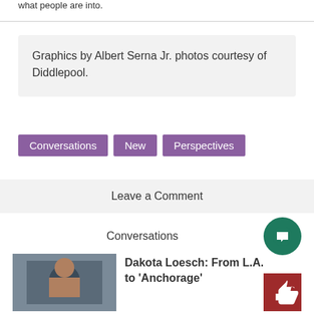what people are into.
Graphics by Albert Serna Jr. photos courtesy of Diddlepool.
Conversations New Perspectives
Leave a Comment
Conversations
Dakota Loesch: From L.A. to 'Anchorage'
[Figure (photo): Photo of a man in a vehicle, bald, looking forward]